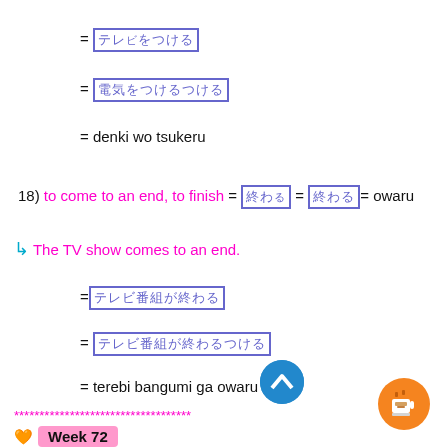= [JP] (denki wo tsukeru)
= [JP] (denki wo tsukeru)
= denki wo tsukeru
18) to come to an end, to finish = [JP] = [JP] = owaru
↳ The TV show comes to an end.
=[JP] (terebi bangumi ga owaru)
= [JP] (terebi bangumi ga owaru)
= terebi bangumi ga owaru
***********************************
🧡 Week 72